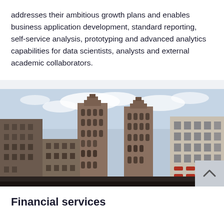addresses their ambitious growth plans and enables business application development, standard reporting, self-service analysis, prototyping and advanced analytics capabilities for data scientists, analysts and external academic collaborators.
[Figure (photo): Street-level photograph of tall multi-storey brick and stone buildings in a city financial district, with two prominent Art Deco tower buildings visible in the centre, and red awnings on the right-hand building. Overcast sky.]
Financial services